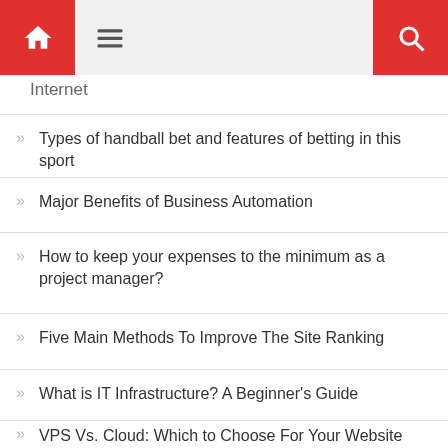Home | Menu | Search
Internet
Types of handball bet and features of betting in this sport
Major Benefits of Business Automation
How to keep your expenses to the minimum as a project manager?
Five Main Methods To Improve The Site Ranking
What is IT Infrastructure? A Beginner's Guide
VPS Vs. Cloud: Which to Choose For Your Website
How it all started: what gambling was popular with ancient warriors
Understand The Popular Bitcoin In Naira Trading Concepts